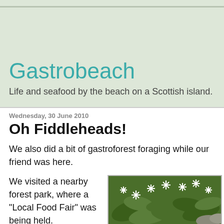Gastrobeach
Life and seafood by the beach on a Scottish island.
Wednesday, 30 June 2010
Oh Fiddleheads!
We also did a bit of gastroforest foraging while our friend was here.
We visited a nearby forest park, where a "Local Food Fair" was being held. Unfortunately the food fair was a little
[Figure (photo): Close-up photograph of white star-shaped flowers with green leaves, likely wild garlic or similar plant]